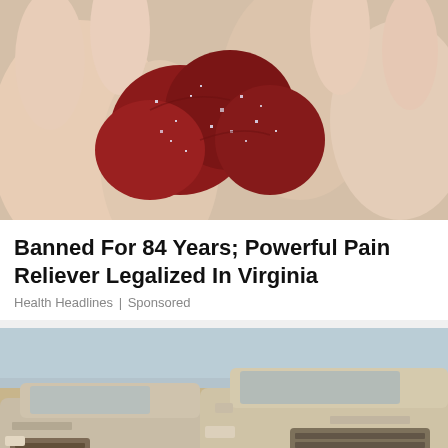[Figure (photo): A hand holding dark red sugary gummy candies with a crystalline sugar coating, close-up photo]
Banned For 84 Years; Powerful Pain Reliever Legalized In Virginia
Health Headlines | Sponsored
[Figure (photo): Two dusty/sandy Range Rover SUVs parked in a lot under a clear blue sky, covered in a light layer of dust or sand]